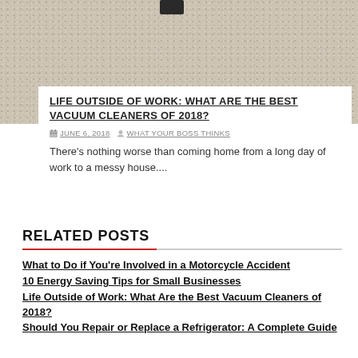[Figure (photo): Top portion of a photo showing carpet/rug texture with a dark object at the top, partially cropped]
LIFE OUTSIDE OF WORK: WHAT ARE THE BEST VACUUM CLEANERS OF 2018?
JUNE 6, 2018   WHAT YOUR BOSS THINKS
There’s nothing worse than coming home from a long day of work to a messy house....
RELATED POSTS
What to Do if You’re Involved in a Motorcycle Accident
10 Energy Saving Tips for Small Businesses
Life Outside of Work: What Are the Best Vacuum Cleaners of 2018?
Should You Repair or Replace a Refrigerator: A Complete Guide